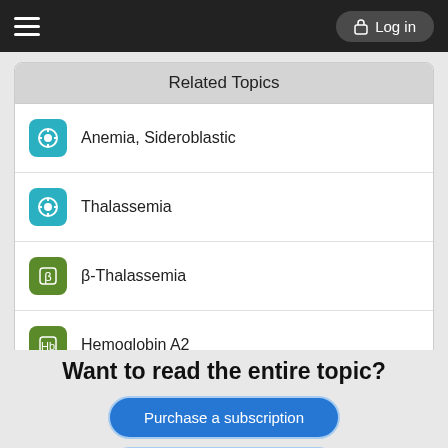Log in
Related Topics
Anemia, Sideroblastic
Thalassemia
β-Thalassemia
Hemoglobin A2
Hemolysis
Want to read the entire topic?
Purchase a subscription
I'm already a subscriber
Browse sample topics